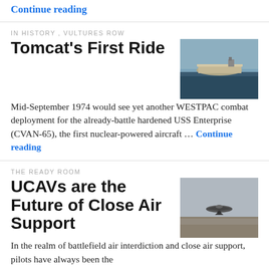Continue reading
IN HISTORY, VULTURES ROW
Tomcat's First Ride
[Figure (photo): Aerial photograph of USS Enterprise aircraft carrier at sea]
Mid-September 1974 would see yet another WESTPAC combat deployment for the already-battle hardened USS Enterprise (CVAN-65), the first nuclear-powered aircraft ... Continue reading
THE READY ROOM
UCAVs are the Future of Close Air Support
[Figure (photo): Military unmanned aerial vehicle (UCAV/drone) on a runway or carrier deck]
In the realm of battlefield air interdiction and close air support, pilots have always been the